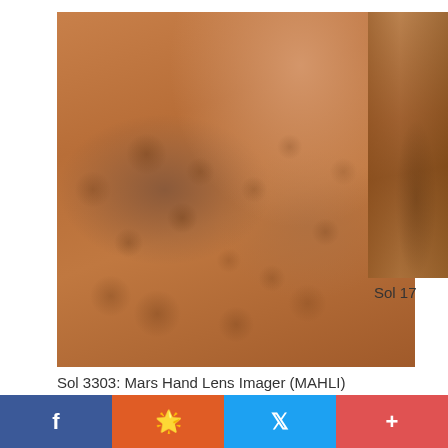[Figure (photo): Close-up photo of Martian surface showing reddish-orange granular soil and small pebbles taken by MAHLI camera on Sol 3303]
Sol 3303: Mars Hand Lens Imager (MAHLI)
[Figure (photo): Partial view of a second Mars surface photo showing rocky terrain, cropped on the right side of the page]
Sol 17